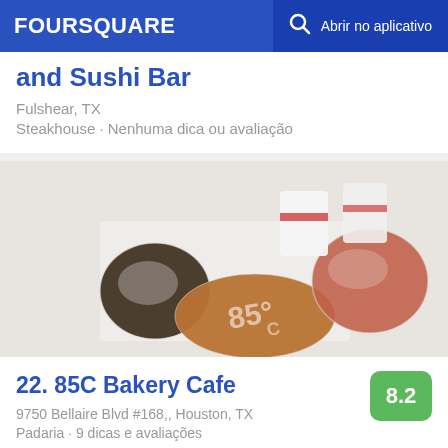FOURSQUARE  Abrir no aplicativo
and Sushi Bar
Fulshear, TX
Steakhouse · Nenhuma dica ou avaliação
[Figure (photo): Photo of bakery items wrapped in plastic on a table with cups, branded with 85°C logo]
22. 85C Bakery Cafe
9750 Bellaire Blvd #168,, Houston, TX
Padaria · 9 dicas e avaliações
Andres Elizondo: Choose your own